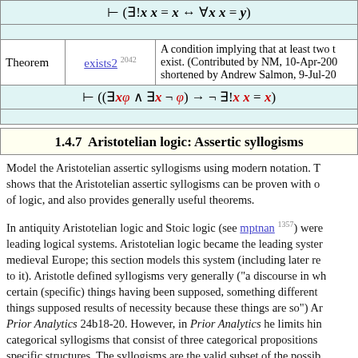| Theorem | exists2 2042 | Description |
| --- | --- | --- |
| Theorem | exists2 2042 | A condition implying that at least two things exist. (Contributed by NM, 10-Apr-2004.) shortened by Andrew Salmon, 9-Jul-20... |
1.4.7  Aristotelian logic: Assertic syllogisms
Model the Aristotelian assertic syllogisms using modern notation. This shows that the Aristotelian assertic syllogisms can be proven with ordinary logic, and also provides generally useful theorems.
In antiquity Aristotelian logic and Stoic logic (see mptnan 1357) were the leading logical systems. Aristotelian logic became the leading system in medieval Europe; this section models this system (including later refinements to it). Aristotle defined syllogisms very generally ("a discourse in which certain (specific) things having been supposed, something different from the things supposed results of necessity because these things are so") Aristotle Prior Analytics 24b18-20. However, in Prior Analytics he limits himself to categorical syllogisms that consist of three categorical propositions with specific structures. The syllogisms are the valid subset of the possible combinations of these structures. The medieval schools used vowels to identify the types of terms (a=all, e=none, i=some, and o=some are not).